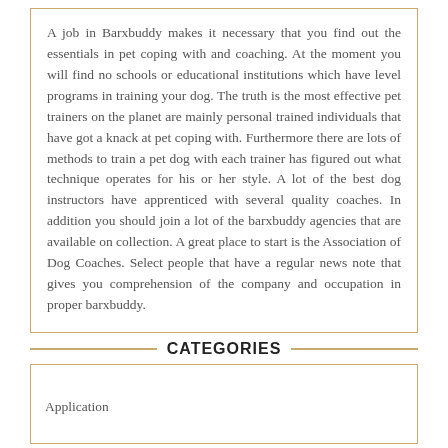A job in Barxbuddy makes it necessary that you find out the essentials in pet coping with and coaching. At the moment you will find no schools or educational institutions which have level programs in training your dog. The truth is the most effective pet trainers on the planet are mainly personal trained individuals that have got a knack at pet coping with. Furthermore there are lots of methods to train a pet dog with each trainer has figured out what technique operates for his or her style. A lot of the best dog instructors have apprenticed with several quality coaches. In addition you should join a lot of the barxbuddy agencies that are available on collection. A great place to start is the Association of Dog Coaches. Select people that have a regular news note that gives you comprehension of the company and occupation in proper barxbuddy.
CATEGORIES
Application